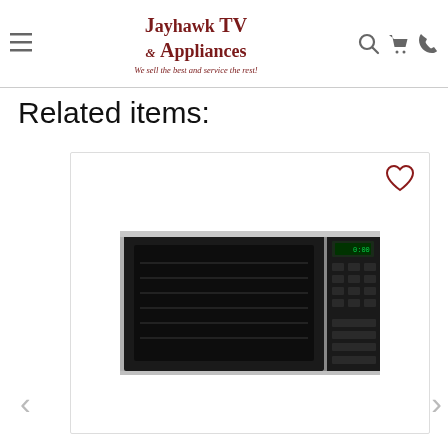Jayhawk TV & Appliances — We sell the best and service the rest!
Related items:
[Figure (photo): Stainless steel over-the-range microwave oven with black door and digital control panel on the right side]